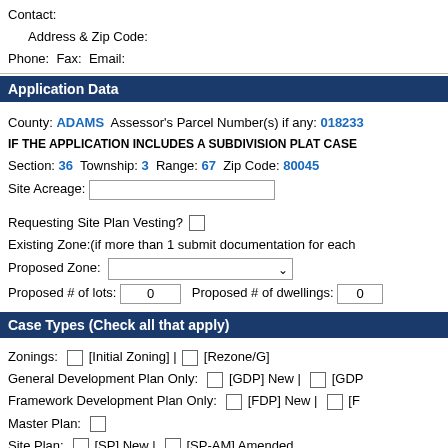Contact:
Address & Zip Code:
Phone:  Fax:  Email:
Application Data
County: ADAMS  Assessor's Parcel Number(s) if any: 018233
IF THE APPLICATION INCLUDES A SUBDIVISION PLAT CASE
Section: 36  Township: 3  Range: 67  Zip Code: 80045
Site Acreage:
Requesting Site Plan Vesting?
Existing Zone:(if more than 1 submit documentation for each
Proposed Zone:
Proposed # of lots: 0   Proposed # of dwellings: 0
Case Types (Check all that apply)
Zonings:  [Initial Zoning] |  [Rezone/G]
General Development Plan Only:  [GDP] New |  [GDP
Framework Development Plan Only:  [FDP] New |  [F
Master Plan:
Site Plan:  [SP] New |  [SP-AM] Amended
Contextual Site Plan:  [CSP] New |  [CSP-AM] Ame
Subdivision Plat:  [PLAT] New |  [REPLAT] Replat |